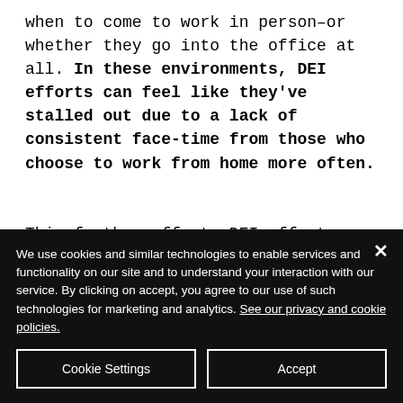when to come to work in person–or whether they go into the office at all. In these environments, DEI efforts can feel like they've stalled out due to a lack of consistent face-time from those who choose to work from home more often.
This further affects DEI efforts because many parents and
We use cookies and similar technologies to enable services and functionality on our site and to understand your interaction with our service. By clicking on accept, you agree to our use of such technologies for marketing and analytics. See our privacy and cookie policies.